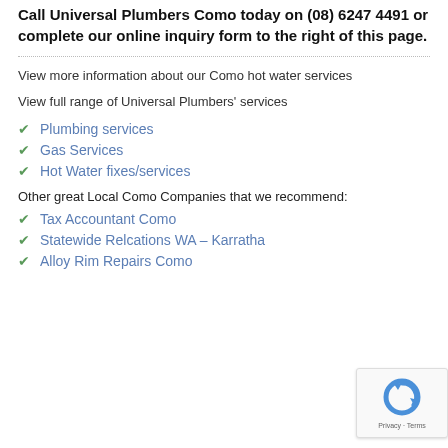Call Universal Plumbers Como today on (08) 6247 4491 or complete our online inquiry form to the right of this page.
View more information about our Como hot water services
View full range of Universal Plumbers' services
Plumbing services
Gas Services
Hot Water fixes/services
Other great Local Como Companies that we recommend:
Tax Accountant Como
Statewide Relcations WA – Karratha
Alloy Rim Repairs Como